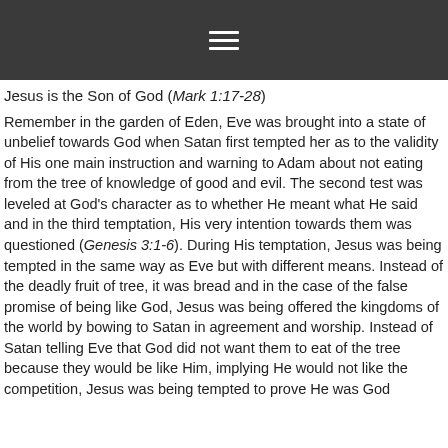≡
Jesus is the Son of God (Mark 1:17-28)
Remember in the garden of Eden, Eve was brought into a state of unbelief towards God when Satan first tempted her as to the validity of His one main instruction and warning to Adam about not eating from the tree of knowledge of good and evil. The second test was leveled at God's character as to whether He meant what He said and in the third temptation, His very intention towards them was questioned (Genesis 3:1-6). During His temptation, Jesus was being tempted in the same way as Eve but with different means. Instead of the deadly fruit of tree, it was bread and in the case of the false promise of being like God, Jesus was being offered the kingdoms of the world by bowing to Satan in agreement and worship. Instead of Satan telling Eve that God did not want them to eat of the tree because they would be like Him, implying He would not like the competition, Jesus was being tempted to prove He was God